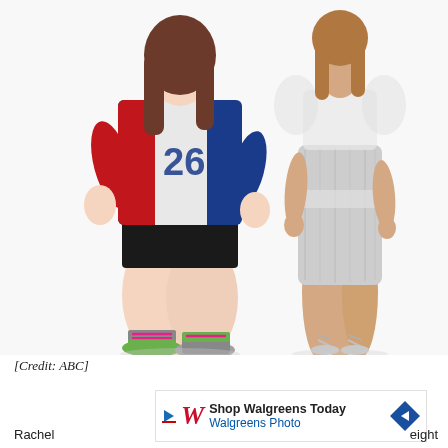[Figure (photo): Two women side by side on white background. Left: heavier woman wearing red/blue/white sports jersey with number 26, black bike shorts, and colorful athletic shoes with pink laces. Right: slimmer woman in silver/white sequined dress with silver strappy heels.]
[Credit: ABC]
Rachel [ad: Shop Walgreens Today / Walgreens Photo] eight